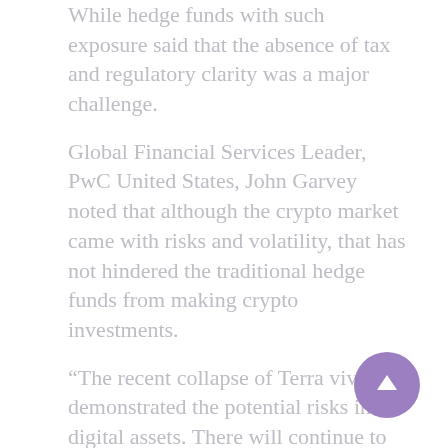While hedge funds with such exposure said that the absence of tax and regulatory clarity was a major challenge.
Global Financial Services Leader, PwC United States, John Garvey noted that although the crypto market came with risks and volatility, that has not hindered the traditional hedge funds from making crypto investments.
“The recent collapse of Terra vividly demonstrated the potential risks in digital assets. There will continue to be volatility, but the market is